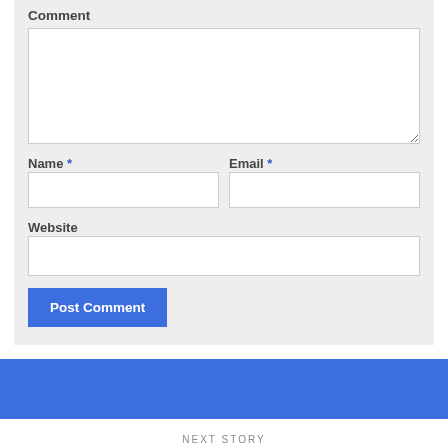Comment
[Figure (screenshot): Comment textarea form field (empty white box)]
Name *
Email *
[Figure (screenshot): Name input field (empty white box)]
[Figure (screenshot): Email input field (empty white box)]
Website
[Figure (screenshot): Website input field (empty white box)]
Post Comment
[Figure (other): Blue banner bar]
NEXT STORY